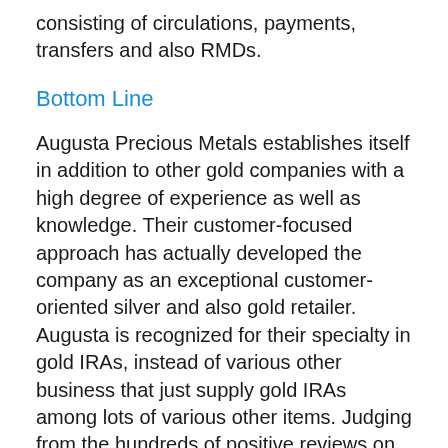consisting of circulations, payments, transfers and also RMDs.
Bottom Line
Augusta Precious Metals establishes itself in addition to other gold companies with a high degree of experience as well as knowledge. Their customer-focused approach has actually developed the company as an exceptional customer-oriented silver and also gold retailer. Augusta is recognized for their specialty in gold IRAs, instead of various other business that just supply gold IRAs among lots of various other items. Judging from the hundreds of positive reviews on trusted third-party sites such as Trustlink, they have actually efficiently